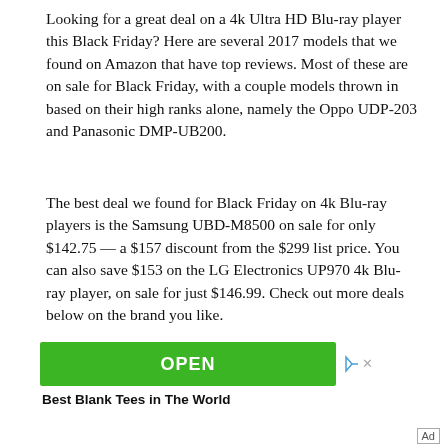Looking for a great deal on a 4k Ultra HD Blu-ray player this Black Friday? Here are several 2017 models that we found on Amazon that have top reviews. Most of these are on sale for Black Friday, with a couple models thrown in based on their high ranks alone, namely the Oppo UDP-203 and Panasonic DMP-UB200.
The best deal we found for Black Friday on 4k Blu-ray players is the Samsung UBD-M8500 on sale for only $142.75 — a $157 discount from the $299 list price. You can also save $153 on the LG Electronics UP970 4k Blu-ray player, on sale for just $146.99. Check out more deals below on the brand you like.
[Figure (other): Advertisement banner with green OPEN button and text 'Best Blank Tees in The World']